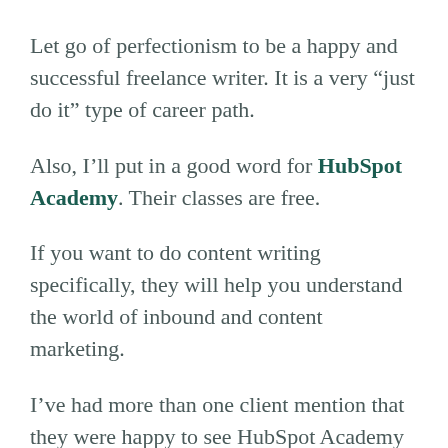Let go of perfectionism to be a happy and successful freelance writer. It is a very “just do it” type of career path.
Also, I’ll put in a good word for HubSpot Academy. Their classes are free.
If you want to do content writing specifically, they will help you understand the world of inbound and content marketing.
I’ve had more than one client mention that they were happy to see HubSpot Academy on my resume.